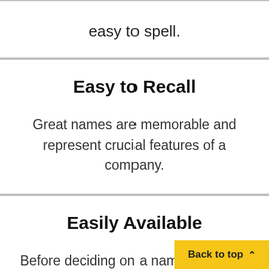easy to spell.
Easy to Recall
Great names are memorable and represent crucial features of a company.
Easily Available
Before deciding on a name, check for trademarks and domain availability.